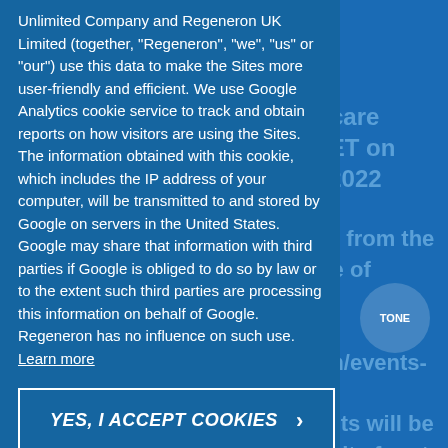Unlimited Company and Regeneron UK Limited (together, "Regeneron", "we", "us" or "our") use this data to make the Sites more user-friendly and efficient. We use Google Analytics cookie service to track and obtain reports on how visitors are using the Sites. The information obtained with this cookie, which includes the IP address of your computer, will be transmitted to and stored by Google on servers in the United States. Google may share that information with third parties if Google is obliged to do so by law or to the extent such third parties are processing this information on behalf of Google. Regeneron has no influence on such use. Learn more
YES, I ACCEPT COOKIES
About Regeneron
Regeneron (NASDAQ: REGN) is a leading biotechnology company that invents life-